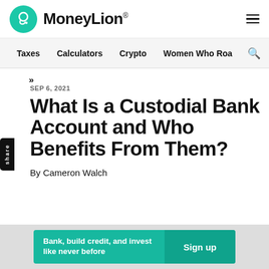MoneyLion
Taxes | Calculators | Crypto | Women Who Ro…
SEP 6, 2021
What Is a Custodial Bank Account and Who Benefits From Them?
By Cameron Walch
Bank, build credit, and invest like never before | Sign up